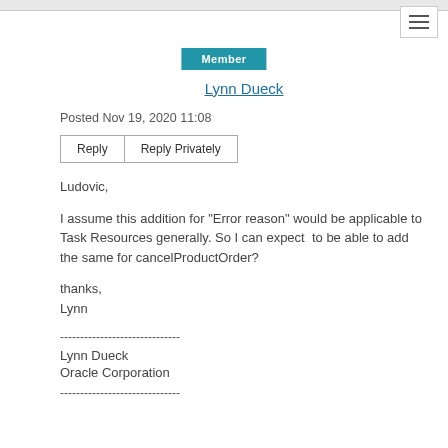Member
Lynn Dueck
Posted Nov 19, 2020 11:08
Reply   Reply Privately
Ludovic,

I assume this addition for "Error reason" would be applicable to Task Resources generally. So I can expect  to be able to add the same for cancelProductOrder?

thanks,
Lynn
------------------------------
Lynn Dueck
Oracle Corporation
------------------------------